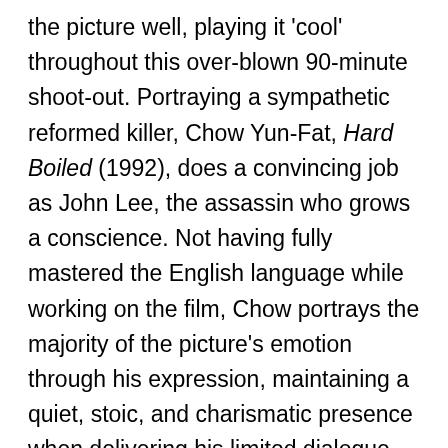the picture well, playing it 'cool' throughout this over-blown 90-minute shoot-out. Portraying a sympathetic reformed killer, Chow Yun-Fat, Hard Boiled (1992), does a convincing job as John Lee, the assassin who grows a conscience. Not having fully mastered the English language while working on the film, Chow portrays the majority of the picture's emotion through his expression, maintaining a quiet, stoic, and charismatic presence when delivering his limited dialogue — albeit his English is rather difficult to understand at times. The stunningly gorgeous Mira Sorvino, Mimic (1997), certainly holds her own — which is to be somewhat expected from an Academy Award winning actress — portraying tough-girl Meg Coburn with elegance, femininity and flair, helping counteract the obvious limits of Chow's lack of...